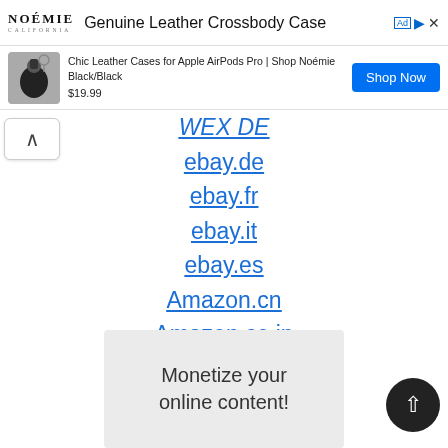[Figure (screenshot): Advertisement banner: Noémie logo, 'Genuine Leather Crossbody Case' text, ad badge with arrow icon]
[Figure (screenshot): Ad sub-row: product image of black AirPods case, text 'Chic Leather Cases for Apple AirPods Pro | Shop Noémie Black/Black', price '$19.99', blue 'Shop Now' button]
WEX DE
ebay.de
ebay.fr
ebay.it
ebay.es
Amazon.cn
Amazon.co.jp
[Figure (screenshot): Bottom advertisement box with text 'Monetize your online content!']